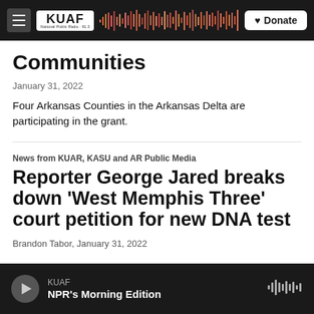KUAF Navigation bar with logo and Donate button
Communities
January 31, 2022
Four Arkansas Counties in the Arkansas Delta are participating in the grant.
News from KUAR, KASU and AR Public Media
Reporter George Jared breaks down 'West Memphis Three' court petition for new DNA test
Brandon Tabor,  January 31, 2022
KUAF — NPR's Morning Edition